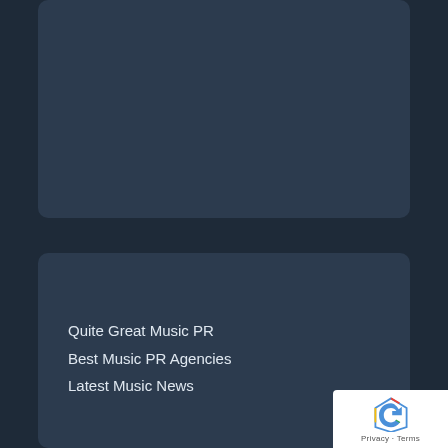[Figure (other): Dark blue-grey rounded card placeholder at top of page]
[Figure (other): Dark blue-grey rounded card placeholder in lower portion of page]
Quite Great Music PR
Best Music PR Agencies
Latest Music News
[Figure (other): Google reCAPTCHA badge in bottom right corner showing reCAPTCHA logo with Privacy and Terms links]